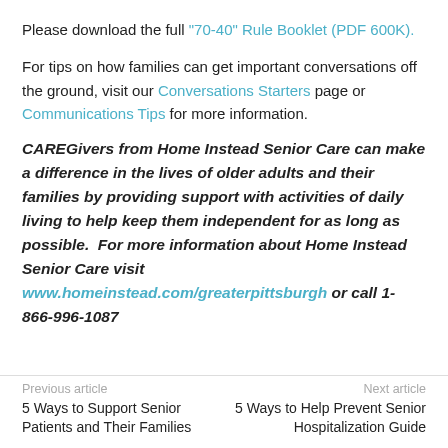Please download the full "70-40" Rule Booklet (PDF 600K).
For tips on how families can get important conversations off the ground, visit our Conversations Starters page or Communications Tips for more information.
CAREGivers from Home Instead Senior Care can make a difference in the lives of older adults and their families by providing support with activities of daily living to help keep them independent for as long as possible.  For more information about Home Instead Senior Care visit www.homeinstead.com/greaterpittsburgh or call 1-866-996-1087
Previous article | 5 Ways to Support Senior Patients and Their Families | Next article | 5 Ways to Help Prevent Senior Hospitalization Guide